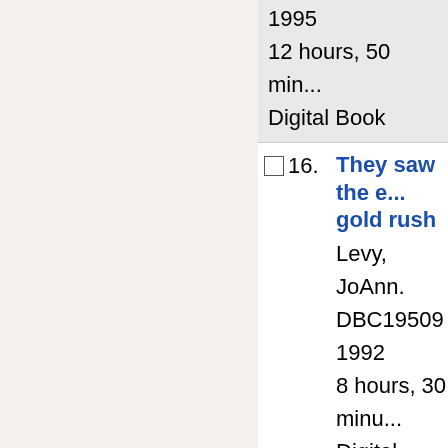16. They saw the e... gold rush
Levy, JoAnn.
DBC19509
1992
8 hours, 30 minu...
Digital Book
17. Joined at the h... Cities
Goetting, Jay.
DBC19745
2011
5 hours, 51 minu...
Digital Book
18. Milwaukee in th... City Guide
Buenker, Beverl...